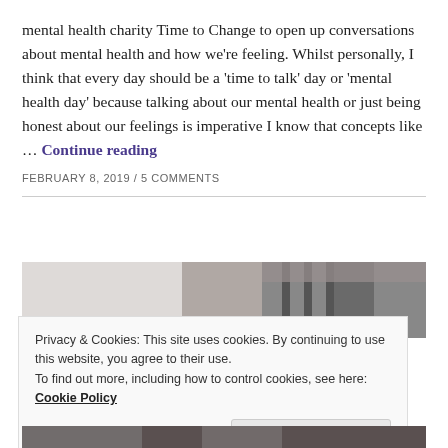mental health charity Time to Change to open up conversations about mental health and how we're feeling. Whilst personally, I think that every day should be a 'time to talk' day or 'mental health day' because talking about our mental health or just being honest about our feelings is imperative I know that concepts like … Continue reading
FEBRUARY 8, 2019 / 5 COMMENTS
[Figure (photo): A partially visible interior photograph showing a hallway or room with structural columns and ceiling details, in grayscale tones.]
Privacy & Cookies: This site uses cookies. By continuing to use this website, you agree to their use.
To find out more, including how to control cookies, see here: Cookie Policy